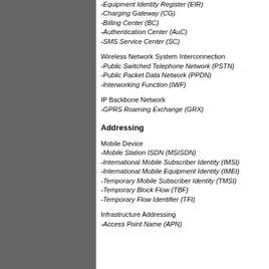-Equipment Identity Register (EIR)
-Charging Gateway (CG)
-Billing Center (BC)
-Authentication Center (AuC)
-SMS Service Center (SC)
Wireless Network System Interconnection
-Public Switched Telephone Network (PSTN)
-Public Packet Data Network (PPDN)
-Interworking Function (IWF)
IP Backbone Network
-GPRS Roaming Exchange (GRX)
Addressing
Mobile Device
-Mobile Station ISDN (MSISDN)
-International Mobile Subscriber Identity (IMSI)
-International Mobile Equipment Identity (IMEI)
-Temporary Mobile Subscriber Identity (TMSI)
-Temporary Block Flow (TBF)
-Temporary Flow Identifier (TFI)
Infrastructure Addressing
-Access Point Name (APN)